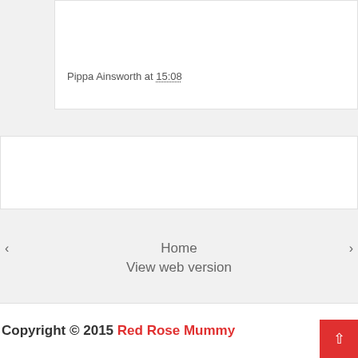Pippa Ainsworth at 15:08
Home
View web version
Copyright © 2015 Red Rose Mummy